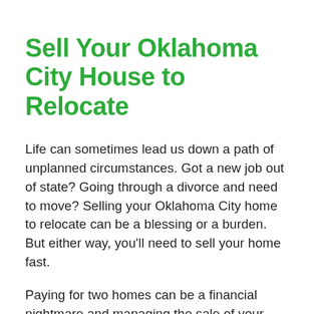Sell Your Oklahoma City House to Relocate
Life can sometimes lead us down a path of unplanned circumstances. Got a new job out of state? Going through a divorce and need to move? Selling your Oklahoma City home to relocate can be a blessing or a burden. But either way, you'll need to sell your home fast.
Paying for two homes can be a financial nightmare and managing the sale of your current house from a distance will be a headache. Moving out of state before you